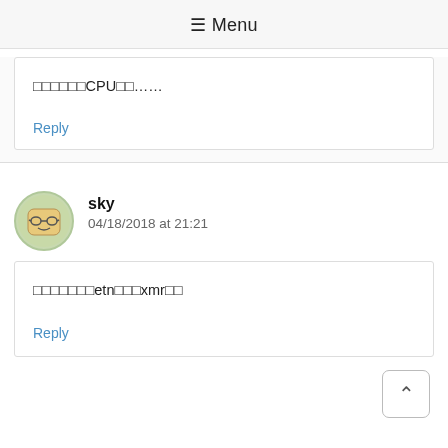≡ Menu
□□□□□□CPU□□……
Reply
sky
04/18/2018 at 21:21
□□□□□□□etn□□□xmr□□
Reply